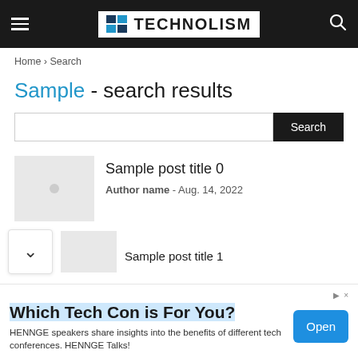TECHNOLISM
Home › Search
Sample - search results
Search
Sample post title 0
Author name - Aug. 14, 2022
Sample post title 1
Which Tech Con is For You? HENNGE speakers share insights into the benefits of different tech conferences. HENNGE Talks!